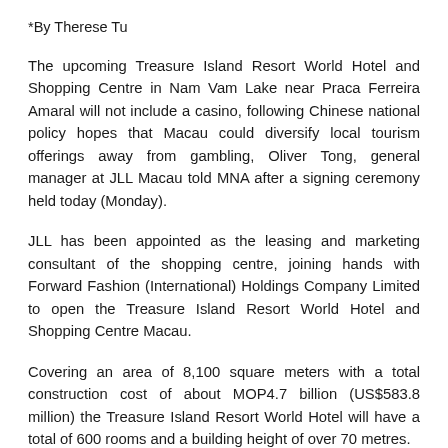*By Therese Tu
The upcoming Treasure Island Resort World Hotel and Shopping Centre in Nam Vam Lake near Praca Ferreira Amaral will not include a casino, following Chinese national policy hopes that Macau could diversify local tourism offerings away from gambling, Oliver Tong, general manager at JLL Macau told MNA after a signing ceremony held today (Monday).
JLL has been appointed as the leasing and marketing consultant of the shopping centre, joining hands with Forward Fashion (International) Holdings Company Limited to open the Treasure Island Resort World Hotel and Shopping Centre Macau.
Covering an area of 8,100 square meters with a total construction cost of about MOP4.7 billion (US$583.8 million) the Treasure Island Resort World Hotel will have a total of 600 rooms and a building height of over 70 metres.
Leisure and hospitality company Genting Hong Kong Limited, which holds a bit interest in Treasure Island Entertainment...